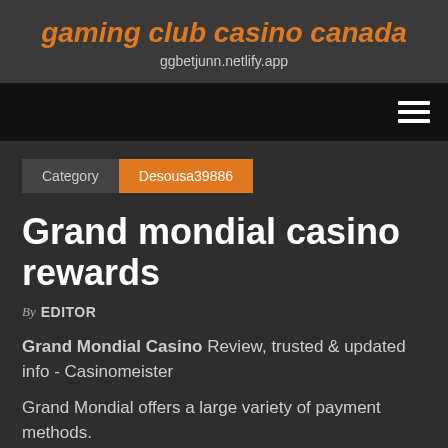gaming club casino canada
ggbetjunn.netlify.app
Category  Desousa39886
Grand mondial casino rewards
By EDITOR
Grand Mondial Casino Review, trusted & updated info - Casinomeister
Grand Mondial offers a large variety of payment methods.